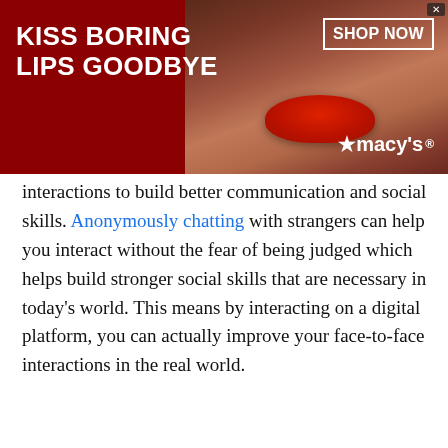[Figure (screenshot): Macy's advertisement banner with dark red background, woman's face with red lips, text 'KISS BORING LIPS GOODBYE', 'SHOP NOW' button in white box, and Macy's star logo]
interactions to build better communication and social skills. Anonymously chatting with strangers can help you interact without the fear of being judged which helps build stronger social skills that are necessary in today's world. This means by interacting on a digital platform, you can actually improve your face-to-face interactions in the real world.
Congolese Talk : A Way to Combat Loneliness
[Figure (screenshot): Groupon advertisement: 'Groupon Official Site | Online Shopping Deals – Discover & Save with Over 300k of the Best Deals – www.groupon.com' with close button and arrow button]